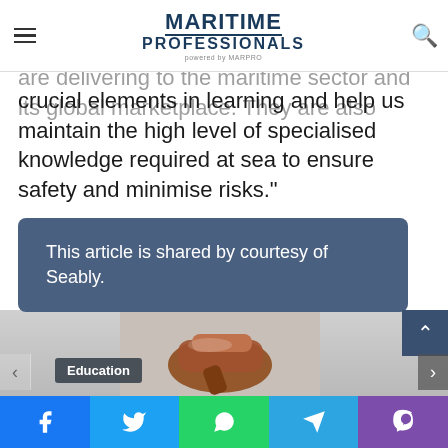MARITIME PROFESSIONALS powered by MARPRO
concepts or complex processes. This enriches the effective training which we are delivering to the maritime sector and its global marketplace. They are also crucial elements in learning and help us maintain the high level of specialised knowledge required at sea to ensure safety and minimise risks."
This article is shared by courtesy of Seably.
[Figure (photo): Gavel/judge's hammer photograph visible in a card below the article, with a dark Education badge overlay]
Education
Social share bar: Facebook, Twitter, WhatsApp, Telegram, Viber